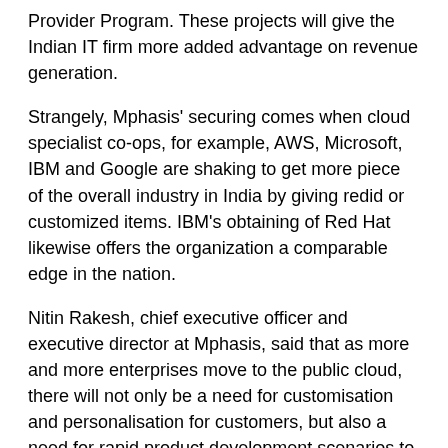Provider Program. These projects will give the Indian IT firm more added advantage on revenue generation.
Strangely, Mphasis' securing comes when cloud specialist co-ops, for example, AWS, Microsoft, IBM and Google are shaking to get more piece of the overall industry in India by giving redid or customized items. IBM's obtaining of Red Hat likewise offers the organization a comparable edge in the nation.
Nitin Rakesh, chief executive officer and executive director at Mphasis, said that as more and more enterprises move to the public cloud, there will not only be a need for customisation and personalisation for customers, but also a need for rapid product development scenarios to reduce time to market.
“Together with Stelligent and its community heroes in the AWS ecosystem, we believe we are uniquely positioned to take advantage of this market opportunity. This allows us to join forces with an equally technically deep company, bringing